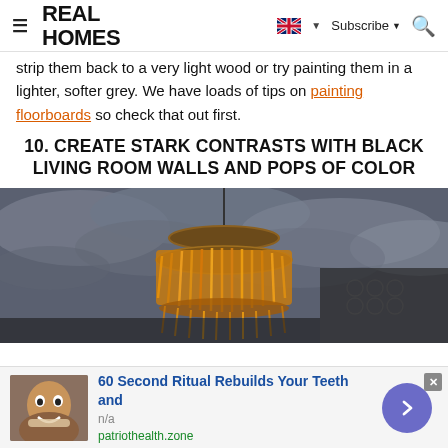REAL HOMES — Subscribe
strip them back to a very light wood or try painting them in a lighter, softer grey. We have loads of tips on painting floorboards so check that out first.
10. CREATE STARK CONTRASTS WITH BLACK LIVING ROOM WALLS AND POPS OF COLOR
[Figure (photo): Close-up photo looking up at an ornate amber/gold feathered chandelier hanging from a dark ceiling with dramatic cloudy grey/blue wallpaper or ceiling treatment. Black wall visible to one side.]
60 Second Ritual Rebuilds Your Teeth and
n/a
patriothealth.zone